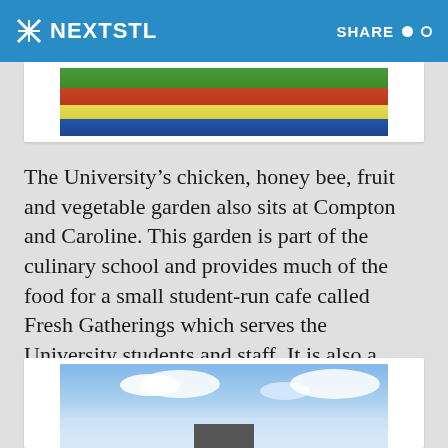NEXTSTL  SHARE
[Figure (photo): Partial view of a university garden or sports field with red, blue, and green colors visible]
The University's chicken, honey bee, fruit and vegetable garden also sits at Compton and Caroline. This garden is part of the culinary school and provides much of the food for a small student-run cafe called Fresh Gatherings which serves the University students and staff. It is also a integrated into the youth summer camps oriented toward cooking and culinary skills.
[Figure (photo): Blue sky with white clouds and a building or sign structure visible at the bottom]